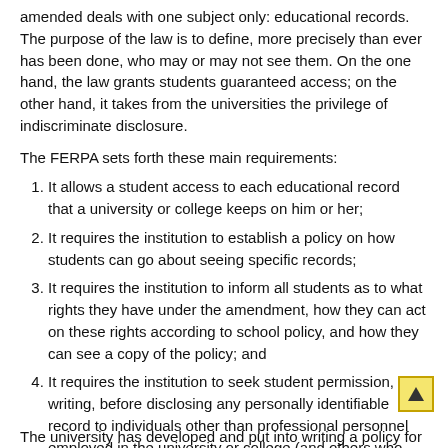amended deals with one subject only: educational records. The purpose of the law is to define, more precisely than ever has been done, who may or may not see them. On the one hand, the law grants students guaranteed access; on the other hand, it takes from the universities the privilege of indiscriminate disclosure.
The FERPA sets forth these main requirements:
1. It allows a student access to each educational record that a university or college keeps on him or her;
2. It requires the institution to establish a policy on how students can go about seeing specific records;
3. It requires the institution to inform all students as to what rights they have under the amendment, how they can act on these rights according to school policy, and how they can see a copy of the policy; and
4. It requires the institution to seek student permission, in writing, before disclosing any personally identifiable record to individuals other than professional personnel employed in the university or college (and others who meet certain specified requirements).
The university has developed and put into writing a policy for